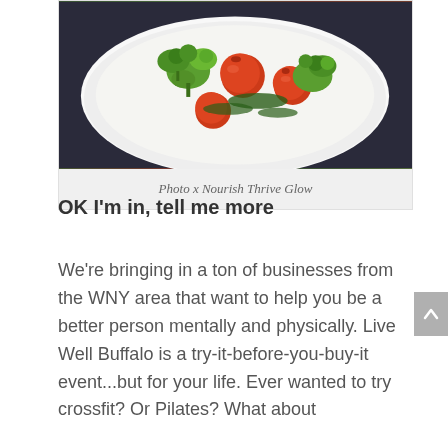[Figure (photo): A white bowl containing a salad with cherry tomatoes and broccoli florets, photographed from above on a dark background.]
Photo x Nourish Thrive Glow
OK I'm in, tell me more
We're bringing in a ton of businesses from the WNY area that want to help you be a better person mentally and physically. Live Well Buffalo is a try-it-before-you-buy-it event...but for your life. Ever wanted to try crossfit? Or Pilates? What about